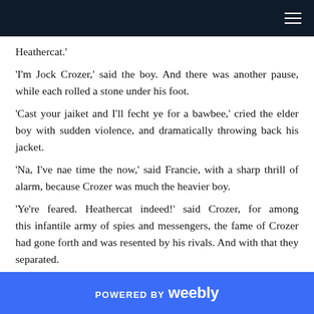Heathercat.'
'I'm Jock Crozer,' said the boy. And there was another pause, while each rolled a stone under his foot.
'Cast your jaiket and I'll fecht ye for a bawbee,' cried the elder boy with sudden violence, and dramatically throwing back his jacket.
'Na, I've nae time the now,' said Francie, with a sharp thrill of alarm, because Crozer was much the heavier boy.
'Ye're feared. Heathercat indeed!' said Crozer, for among this infantile army of spies and messengers, the fame of Crozer had gone forth and was resented by his rivals. And with that they separated.
POWERED BY weebly